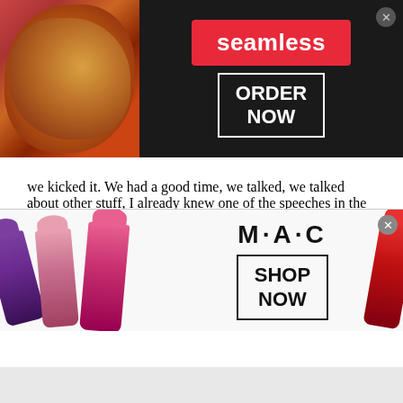[Figure (other): Seamless food delivery advertisement banner with pizza image on left, Seamless logo in red, and ORDER NOW button on dark background]
we kicked it. We had a good time, we talked, we talked about other stuff, I already knew one of the speeches in the movie so I let him know that I knew that, and it was more on that. I said, ‘If I am chosen, hopefully you will feel comfortable in the fact that I’m able to articulate the film also.’ Because with a film like this, there’s going to be panels, there’s going to be questions, there’s
[Figure (other): MAC cosmetics advertisement banner with lipsticks on left and right, MAC logo in center, and SHOP NOW button]